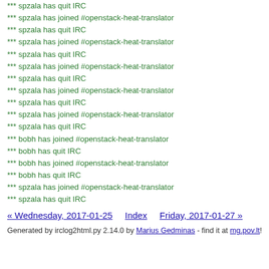*** spzala has quit IRC
*** spzala has joined #openstack-heat-translator
*** spzala has quit IRC
*** spzala has joined #openstack-heat-translator
*** spzala has quit IRC
*** spzala has joined #openstack-heat-translator
*** spzala has quit IRC
*** spzala has joined #openstack-heat-translator
*** spzala has quit IRC
*** spzala has joined #openstack-heat-translator
*** spzala has quit IRC
*** bobh has joined #openstack-heat-translator
*** bobh has quit IRC
*** bobh has joined #openstack-heat-translator
*** bobh has quit IRC
*** spzala has joined #openstack-heat-translator
*** spzala has quit IRC
« Wednesday, 2017-01-25    Index    Friday, 2017-01-27 »
Generated by irclog2html.py 2.14.0 by Marius Gedminas - find it at mg.pov.lt!